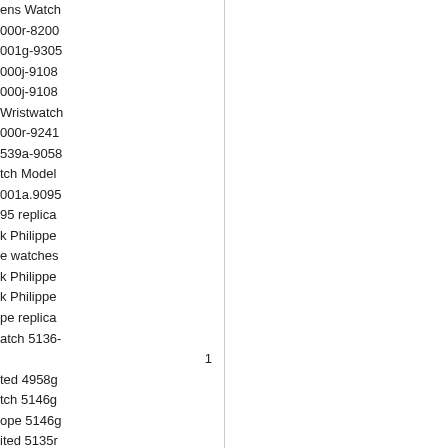ens Watch
000r-8200
001g-9305
000j-9108
000j-9108
Wristwatch
000r-9241
539a-9058
tch Model
001a.9095
95 replica
k Philippe
e watches
k Philippe
k Philippe
pe replica
atch 5136-
1
ted 4958g
tch 5146g
ope 5146g
ited 5135r
- 4910 11r
atch 5396
tch 5110g
ons 5004j
del 5135g
ope 5135g
lolo 4868r
ava 5127j
ppe 5127j
ut 5167 1a
odel 5960r
60r replica
atch 5117j
ava 5127g
aut 4961a
atch 5396r